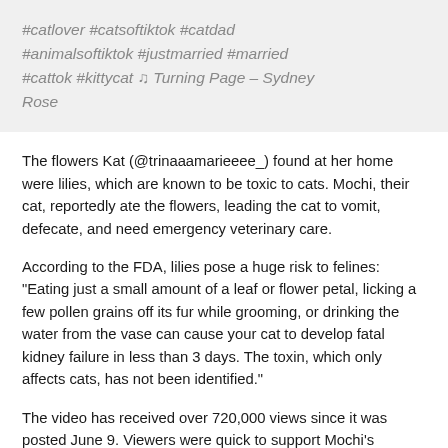#catlover #catsoftiktok #catdad #animalsoftiktok #justmarried #married #cattok #kittycat ♫ Turning Page – Sydney Rose
The flowers Kat (@trinaaamarieeee_) found at her home were lilies, which are known to be toxic to cats. Mochi, their cat, reportedly ate the flowers, leading the cat to vomit, defecate, and need emergency veterinary care.
According to the FDA, lilies pose a huge risk to felines: "Eating just a small amount of a leaf or flower petal, licking a few pollen grains off its fur while grooming, or drinking the water from the vase can cause your cat to develop fatal kidney failure in less than 3 days. The toxin, which only affects cats, has not been identified."
The video has received over 720,000 views since it was posted June 9. Viewers were quick to support Mochi's recovery through a GoFundMe, which quickly reached its financial goal and has since...